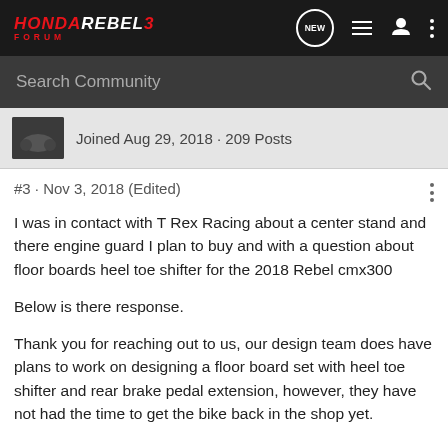HONDA REBEL 3 FORUM
Search Community
Joined Aug 29, 2018 · 209 Posts
#3 · Nov 3, 2018 (Edited)
I was in contact with T Rex Racing about a center stand and there engine guard I plan to buy and with a question about floor boards heel toe shifter for the 2018 Rebel cmx300
Below is there response.
Thank you for reaching out to us, our design team does have plans to work on designing a floor board set with heel toe shifter and rear brake pedal extension, however, they have not had the time to get the bike back in the shop yet.